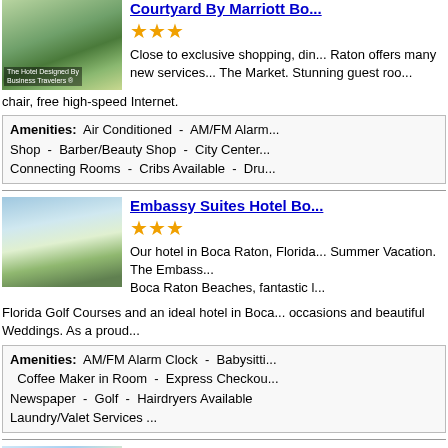[Figure (photo): Courtyard by Marriott hotel exterior with green landscaping]
Courtyard By Marriott Bo...
★★★
Close to exclusive shopping, din... Raton offers many new services... The Market. Stunning guest roo... chair, free high-speed Internet.
Amenities: Air Conditioned - AM/FM Alarm... Shop - Barber/Beauty Shop - City Center... Connecting Rooms - Cribs Available - Dru...
[Figure (photo): Embassy Suites Hotel exterior with palm trees]
Embassy Suites Hotel Bo...
★★★
Our hotel in Boca Raton, Florida... Summer Vacation. The Embass... Boca Raton Beaches, fantastic l... Florida Golf Courses and an ideal hotel in Boca... occasions and beautiful Weddings. As a proud...
Amenities: AM/FM Alarm Clock - Babysitti... Coffee Maker in Room - Express Checkou... Newspaper - Golf - Hairdryers Available... Laundry/Valet Services ...
[Figure (photo): Fairfield Inn and Suites exterior, yellow building with blue roof]
Fairfield Inn And Suites B...
★★
Fairfield Inn and Suites by Marri... Boca Raton, Florida. Centrally lo... Lauderdale airports. Just minute... districts and restaurants.